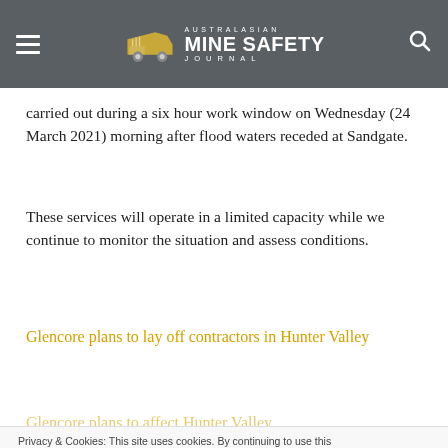Australasian Mine Safety Journal
carried out during a six hour work window on Wednesday (24 March 2021) morning after flood waters receded at Sandgate.
These services will operate in a limited capacity while we continue to monitor the situation and assess conditions.
Glencore plans to lay off contractors in Hunter Valley
Privacy & Cookies: This site uses cookies. By continuing to use this
We use cookies to ensure that we give you the best experience on our website. If you continue to use this site we will assume that you are happy with it.
Ok